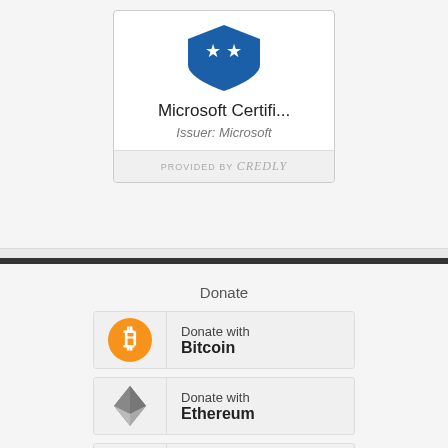[Figure (logo): Microsoft certification badge card with shield logo, title 'Microsoft Certifi...', issuer 'Microsoft', provided by Credly]
Microsoft Certifi...
Issuer: Microsoft
PROVIDED BY Credly
Donate
[Figure (logo): Donate with Bitcoin button with orange Bitcoin logo]
Donate with Bitcoin
[Figure (logo): Donate with Ethereum button with Ethereum diamond logo]
Donate with Ethereum
[Figure (logo): Donate with third cryptocurrency button, partially visible]
Donate with